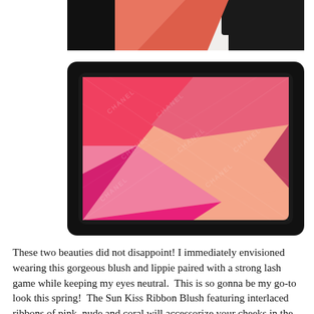[Figure (photo): Partial top view of a Chanel blush/makeup palette showing coral-pink powder sections and dark packaging.]
[Figure (photo): Close-up of Chanel Sun Kiss Ribbon Blush palette showing interlaced diagonal ribbons of pink, magenta, coral, and nude powder with embossed CHANEL text.]
These two beauties did not disappoint! I immediately envisioned wearing this gorgeous blush and lippie paired with a strong lash game while keeping my eyes neutral.  This is so gonna be my go-to look this spring!  The Sun Kiss Ribbon Blush featuring interlaced ribbons of pink, nude and coral will accessorize your cheeks in the sweetest of ways. You'll look sun kissed and simply beautiful with